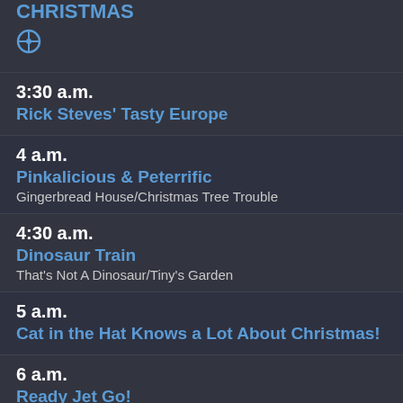CHRISTMAS
3:30 a.m. — Rick Steves' Tasty Europe
4 a.m. — Pinkalicious & Peterrific — Gingerbread House/Christmas Tree Trouble
4:30 a.m. — Dinosaur Train — That's Not A Dinosaur/Tiny's Garden
5 a.m. — Cat in the Hat Knows a Lot About Christmas!
6 a.m. — Ready Jet Go! — Souped-Up Saucer/Pet Sounds
6:30 a.m.